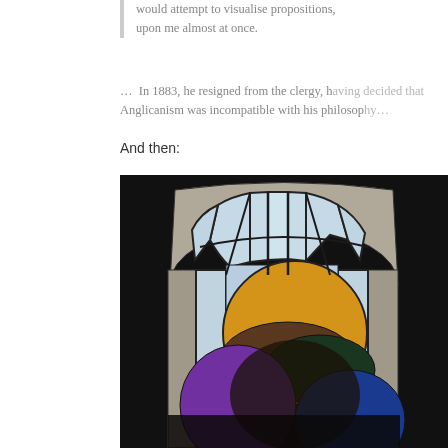would attempt to visualise propositions, upon me almost at once.
… In 1883, he resigned from the clergy, having decided that Anglicanism was incompatible with his philosop…
And then:
[Figure (photo): A stained glass church window featuring an arched design with colored glass panels. The upper portion shows clear/pale blue glass in an arch pattern divided by black leading. The lower portion features a large gold/yellow circle (sun), overlapping brown and dark green rounded shapes, and purple/violet forms on the left and blue on the right, all set against a dark background.]